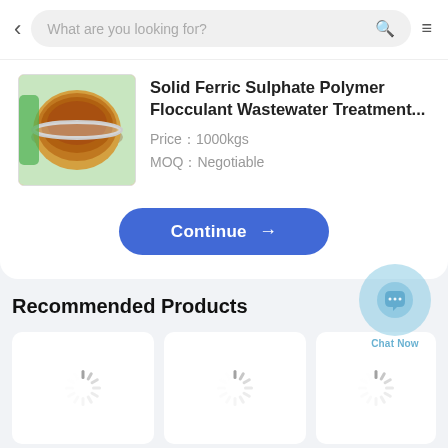What are you looking for?
Solid Ferric Sulphate Polymer Flocculant Wastewater Treatment...
Price：1000kgs
MOQ：Negotiable
Continue →
Recommended Products
[Figure (screenshot): Three loading product cards with spinner icons]
[Figure (illustration): Chat Now button with circular bubble icon overlay in bottom right]